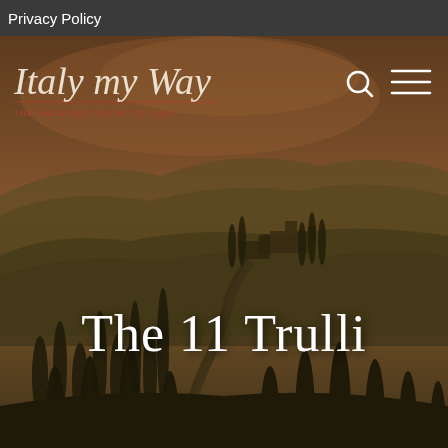Privacy Policy
[Figure (photo): A scenic Tuscan landscape at dusk showing rolling hills, cypress tree-lined roads, and a villa, with a dark olive-brown color tone. Used as hero background image for the 'Italy my Way' travel blog website.]
The 11 Trulli